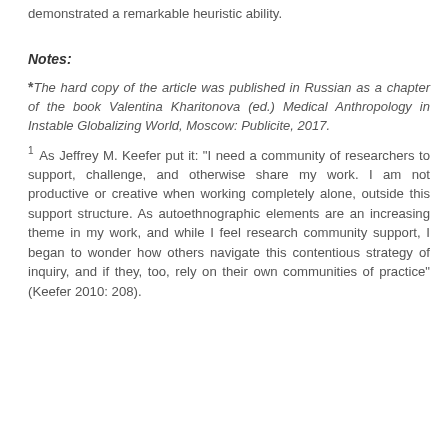demonstrated a remarkable heuristic ability.
Notes:
*The hard copy of the article was published in Russian as a chapter of the book Valentina Kharitonova (ed.) Medical Anthropology in Instable Globalizing World, Moscow: Publicite, 2017.
1 As Jeffrey M. Keefer put it: "I need a community of researchers to support, challenge, and otherwise share my work. I am not productive or creative when working completely alone, outside this support structure. As autoethnographic elements are an increasing theme in my work, and while I feel research community support, I began to wonder how others navigate this contentious strategy of inquiry, and if they, too, rely on their own communities of practice" (Keefer 2010: 208).